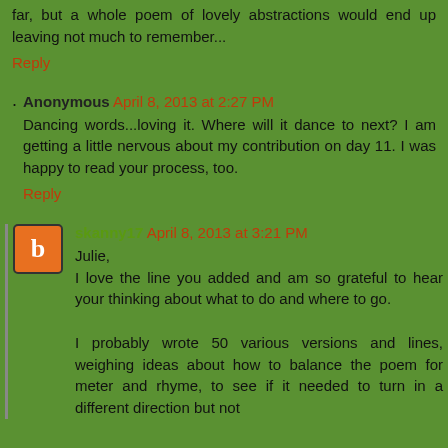far, but a whole poem of lovely abstractions would end up leaving not much to remember...
Reply
Anonymous April 8, 2013 at 2:27 PM
Dancing words...loving it. Where will it dance to next? I am getting a little nervous about my contribution on day 11. I was happy to read your process, too.
Reply
skanny17 April 8, 2013 at 3:21 PM
Julie,
I love the line you added and am so grateful to hear your thinking about what to do and where to go.

I probably wrote 50 various versions and lines, weighing ideas about how to balance the poem for meter and rhyme, to see if it needed to turn in a different direction but not